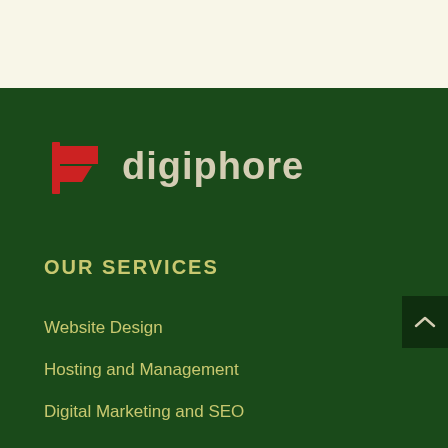[Figure (logo): Digiphore logo with red flag/bookmark icon and cream-colored text 'digiphore' on dark green background]
OUR SERVICES
Website Design
Hosting and Management
Digital Marketing and SEO